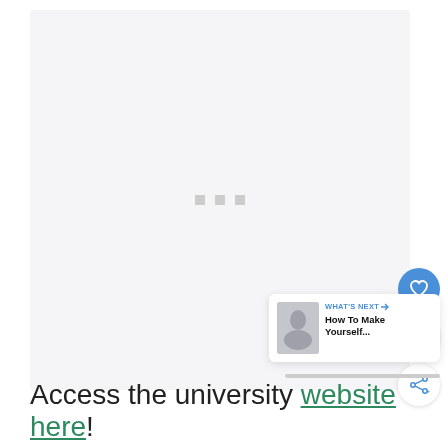[Figure (screenshot): Large light gray content area placeholder with three small gray loading dots in the center, representing a loading or empty content block on a web page. Social interaction buttons (heart/like, count showing 1, share) on the right side. A 'What's Next' widget in the bottom-right corner showing a thumbnail and text 'How To Make Yourself...']
Access the university website here!